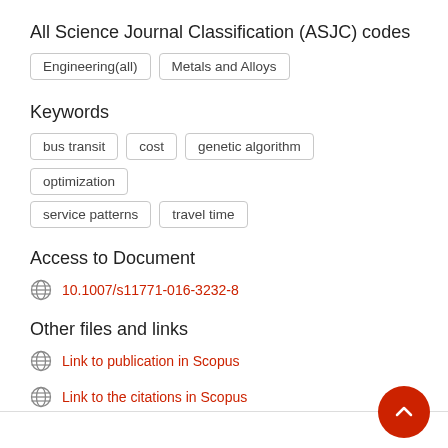All Science Journal Classification (ASJC) codes
Engineering(all)
Metals and Alloys
Keywords
bus transit
cost
genetic algorithm
optimization
service patterns
travel time
Access to Document
10.1007/s11771-016-3232-8
Other files and links
Link to publication in Scopus
Link to the citations in Scopus